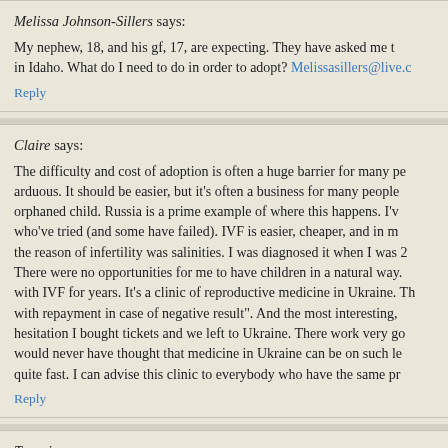Melissa Johnson-Sillers says:
My nephew, 18, and his gf, 17, are expecting. They have asked me to in Idaho. What do I need to do in order to adopt? Melissasillers@live.c
Reply
Claire says:
The difficulty and cost of adoption is often a huge barrier for many pe arduous. It should be easier, but it’s often a business for many people orphaned child. Russia is a prime example of where this happens. I’v who’ve tried (and some have failed). IVF is easier, cheaper, and in m the reason of infertility was salinities. I was diagnosed it when I was 2 There were no opportunities for me to have children in a natural way. with IVF for years. It’s a clinic of reproductive medicine in Ukraine. Th with repayment in case of negative result”. And the most interesting, hesitation I bought tickets and we left to Ukraine. There work very go would never have thought that medicine in Ukraine can be on such le quite fast. I can advise this clinic to everybody who have the same pr
Reply
Traavia says:
Hi...